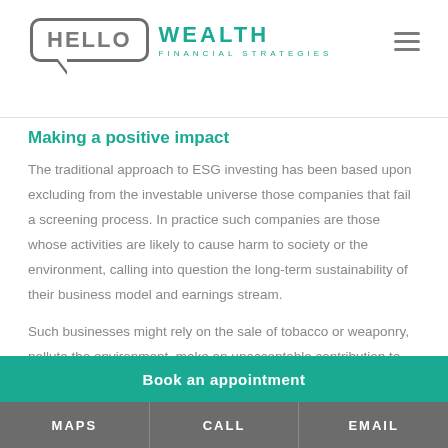HELLO WEALTH FINANCIAL STRATEGIES
Making a positive impact
The traditional approach to ESG investing has been based upon excluding from the investable universe those companies that fail a screening process. In practice such companies are those whose activities are likely to cause harm to society or the environment, calling into question the long-term sustainability of their business model and earnings stream.
Such businesses might rely on the sale of tobacco or weaponry, pollute the environment, make an unacceptable contribution to climate change or
Book an appointment
MAPS  CALL  EMAIL